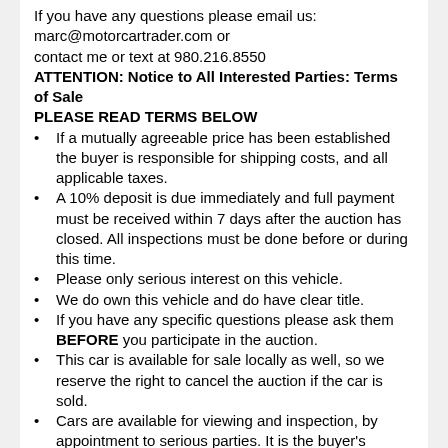If you have any questions please email us: marc@motorcartrader.com or contact me or text at 980.216.8550
ATTENTION: Notice to All Interested Parties: Terms of Sale
PLEASE READ TERMS BELOW
If a mutually agreeable price has been established the buyer is responsible for shipping costs, and all applicable taxes.
A 10% deposit is due immediately and full payment must be received within 7 days after the auction has closed. All inspections must be done before or during this time.
Please only serious interest on this vehicle.
We do own this vehicle and do have clear title.
If you have any specific questions please ask them BEFORE you participate in the auction.
This car is available for sale locally as well, so we reserve the right to cancel the auction if the car is sold.
Cars are available for viewing and inspection, by appointment to serious parties. It is the buyer's responsibility to do all research, inspections and decision-making regarding these vehicles to verify condition and authenticity. In addition to have satisfied himself or herself as to the condition and value and to